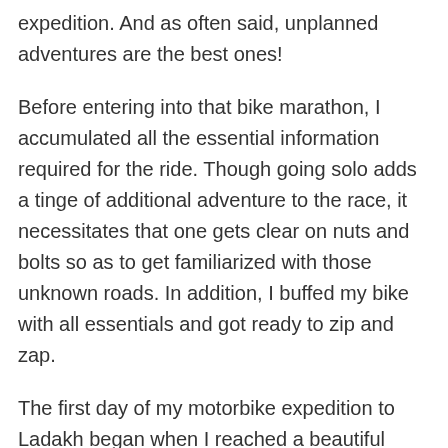expedition. And as often said, unplanned adventures are the best ones!
Before entering into that bike marathon, I accumulated all the essential information required for the ride. Though going solo adds a tinge of additional adventure to the race, it necessitates that one gets clear on nuts and bolts so as to get familiarized with those unknown roads. In addition, I buffed my bike with all essentials and got ready to zip and zap.
The first day of my motorbike expedition to Ladakh began when I reached a beautiful valley nestled in Himachal Pradesh, Manali. Despite getting a short glimpse of the journey ahead while riding along those challenging roads of Kullu valley, the beauty of the surroundings empowered me from time to